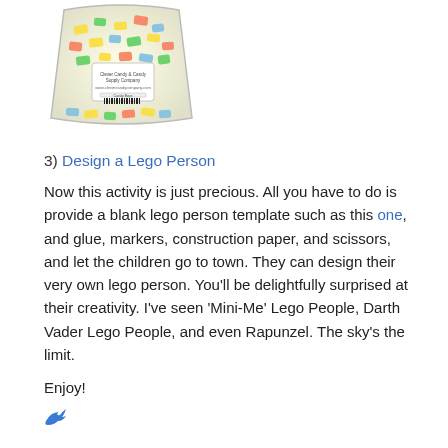[Figure (photo): A bag of colorful candy pieces (lego-shaped candy bricks) from Clever Candy & Candy Supply Company, with a label on the front.]
3)  Design a Lego Person
Now this activity is just precious. All you have to do is provide a blank lego person template such as this one, and glue, markers, construction paper, and scissors, and let the children go to town. They can design their very own lego person. You'll be delightfully surprised at their creativity. I've seen 'Mini-Me' Lego People, Darth Vader Lego People, and even Rapunzel. The sky's the limit.
Enjoy!
[Figure (illustration): Small blue bird icon (social media share icon)]